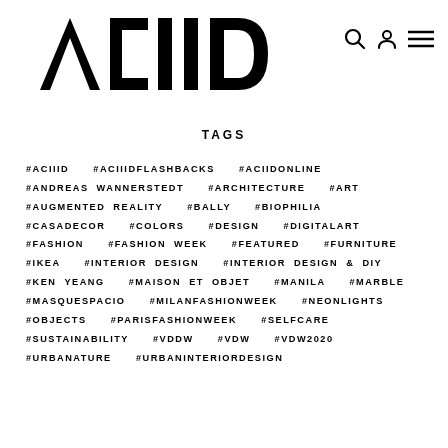ACIIID
TAGS
#ACIIID  #ACIIIDFLASHBACKS  #ACIIDONLINE  #ANDREAS WANNERSTEDT  #ARCHITECTURE  #ART  #AUGMENTED REALITY  #BALLY  #BIOPHILIA  #CASADECOR  #COLORS  #DESIGN  #DIGITALART  #FASHION  #FASHION WEEK  #FEATURED  #FURNITURE  #IKEA  #INTERIOR DESIGN  #INTERIOR DESIGN & DIY  #KEN YEANG  #MAISON ET OBJET  #MANILA  #MARBLE  #MASQUESPACIO  #MILANFASHIONWEEK  #NEONLIGHTS  #OBJECTS  #PARISFASHIONWEEK  #SELFCARE  #SUSTAINABILITY  #VDDW  #VDW  #VDW2020